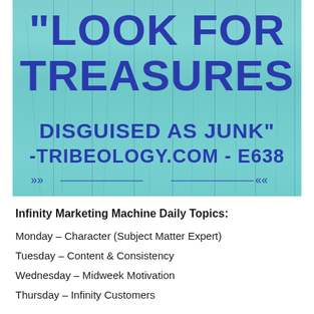[Figure (infographic): Teal/turquoise painted wood plank background with bold blue text quote: 'LOOK FOR TREASURES DISGUISED AS JUNK' -TRIBEOLOGY.COM - E638, with decorative arrow divider]
Infinity Marketing Machine Daily Topics:
Monday – Character (Subject Matter Expert)
Tuesday – Content & Consistency
Wednesday – Midweek Motivation
Thursday – Infinity Customers